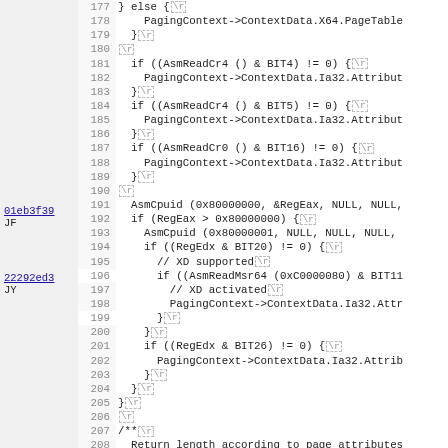[Figure (screenshot): Source code viewer showing lines 177-208 of C code with line numbers, code content including  line endings, and sidebar annotations with git blame hashes (01eb3f39 JF and 22292ed3 JY) linked as hyperlinks.]